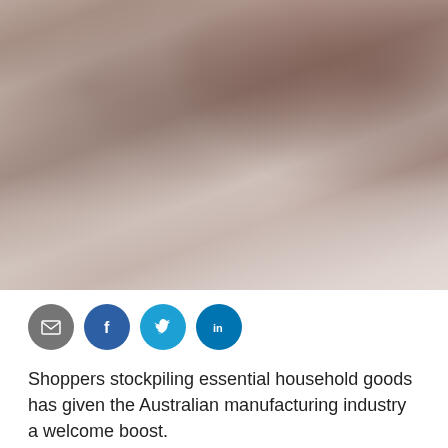[Figure (photo): Blurred sepia-toned industrial or manufacturing interior photo showing large cylindrical structures or silos, with soft warm tones in browns and taupes]
[Figure (infographic): Row of four social sharing icon buttons: email (grey), Facebook (dark blue), Twitter (light blue), LinkedIn (blue)]
Shoppers stockpiling essential household goods has given the Australian manufacturing industry a welcome boost.
Demand for food, groceries and personal care items in the